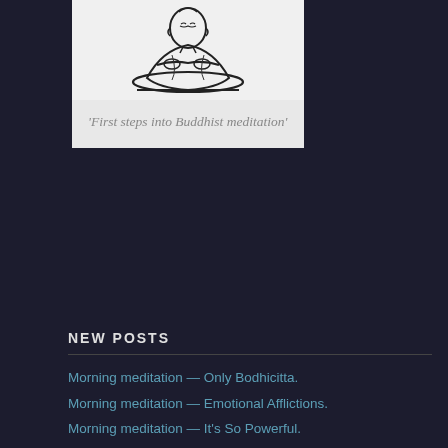[Figure (illustration): Line drawing illustration of a meditating figure (Buddha/monk) in a simple sketch style, black on white/light gray background]
'First steps into Buddhist meditation'
NEW POSTS
Morning meditation — Only Bodhicitta.
Morning meditation — Emotional Afflictions.
Morning meditation — It's So Powerful.
Morning meditation — Call by the Universe.
Morning meditation — What I Wish.
Morning meditation — Buddha Gives the Essence.
Morning meditation — I alone.
Morning meditation — It's Sometimes Easy.
Morning meditation — Forget Conditioning.
Morning meditation — Higher our Self Respect.